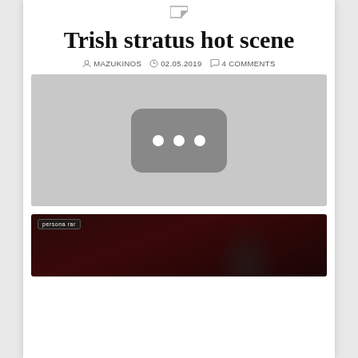Trish stratus hot scene
MAZUKINOS   02.05.2019   4 COMMENTS
[Figure (screenshot): Video thumbnail placeholder showing a dark rounded rectangle with three white dots, resembling a YouTube loading/unavailable state, on a grey background]
[Figure (screenshot): Dark video thumbnail with a partially visible figure and a small label overlay reading 'persona rar' or similar text in the top-left corner]